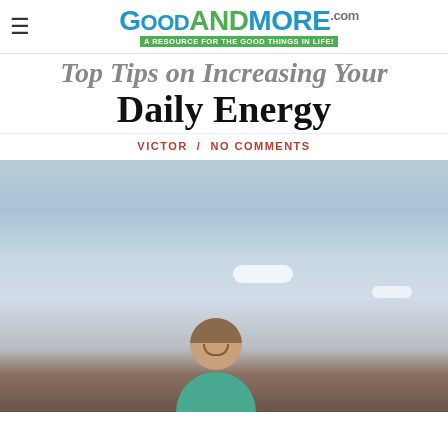GOODANDMORE.COM — A RESOURCE FOR THE GOOD THINGS IN LIFE!
Top Tips on Increasing Your Daily Energy
VICTOR / NO COMMENTS
[Figure (photo): Young woman smiling against a blue sky with white clouds, wearing a teal top]